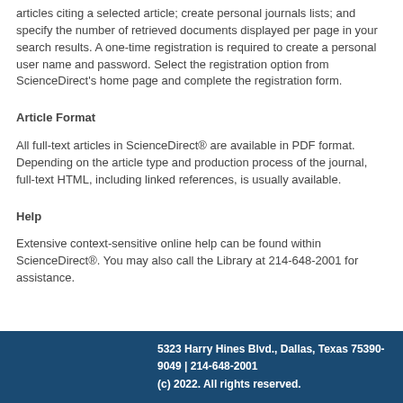articles citing a selected article; create personal journals lists; and specify the number of retrieved documents displayed per page in your search results. A one-time registration is required to create a personal user name and password. Select the registration option from ScienceDirect's home page and complete the registration form.
Article Format
All full-text articles in ScienceDirect® are available in PDF format. Depending on the article type and production process of the journal, full-text HTML, including linked references, is usually available.
Help
Extensive context-sensitive online help can be found within ScienceDirect®. You may also call the Library at 214-648-2001 for assistance.
5323 Harry Hines Blvd., Dallas, Texas 75390-9049 | 214-648-2001
(c) 2022. All rights reserved.